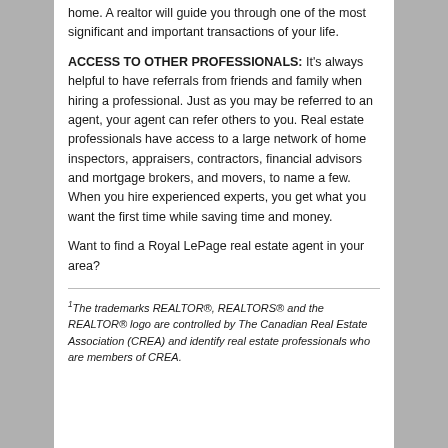home. A realtor will guide you through one of the most significant and important transactions of your life.
ACCESS TO OTHER PROFESSIONALS: It's always helpful to have referrals from friends and family when hiring a professional. Just as you may be referred to an agent, your agent can refer others to you. Real estate professionals have access to a large network of home inspectors, appraisers, contractors, financial advisors and mortgage brokers, and movers, to name a few. When you hire experienced experts, you get what you want the first time while saving time and money.
Want to find a Royal LePage real estate agent in your area?
1The trademarks REALTOR®, REALTORS® and the REALTOR® logo are controlled by The Canadian Real Estate Association (CREA) and identify real estate professionals who are members of CREA.